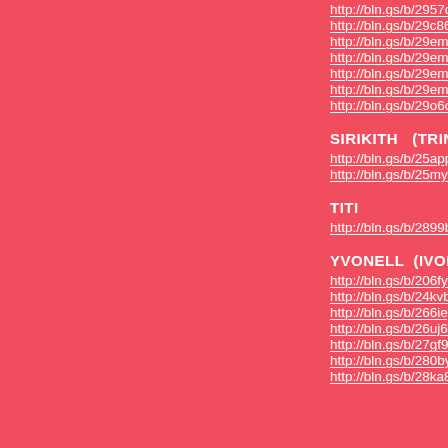http://bln.gs/b/2957di  21.0
http://bln.gs/b/29c863  XMA
http://bln.gs/b/29emnp  SUPER
http://bln.gs/b/29emmu  22.0
http://bln.gs/b/29emma  22.0
http://bln.gs/b/29emlh  22.04
http://bln.gs/b/29o6oh  XMA
SIRIKITH  (TRINIDAD)
http://bln.gs/b/25app2  8
http://bln.gs/b/25my79  3
TITI
http://bln.gs/b/2899bj  11
YVONELL  (IVONNE)
http://bln.gs/b/206fyz
http://bln.gs/b/24kvbr
http://bln.gs/b/266iep  06
http://bln.gs/b/26uj6i  0
http://bln.gs/b/27gf94  3-
http://bln.gs/b/280byl  21
http://bln.gs/b/28ka8l  10